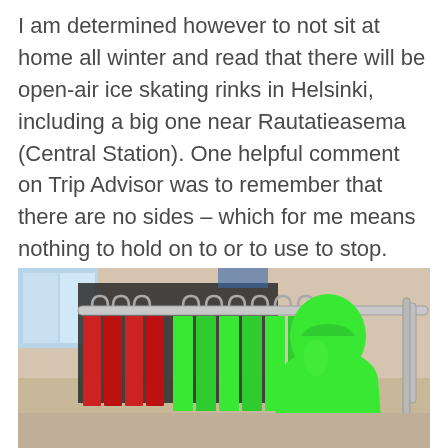I am determined however to not sit at home all winter and read that there will be open-air ice skating rinks in Helsinki, including a big one near Rautatieasema (Central Station). One helpful comment on Trip Advisor was to remember that there are no sides – which for me means nothing to hold on to or to use to stop.
[Figure (photo): Photo of clothing racks with bright neon green and red garments hanging on metal hangers, with a neon green turtleneck top on a display mannequin in the foreground.]